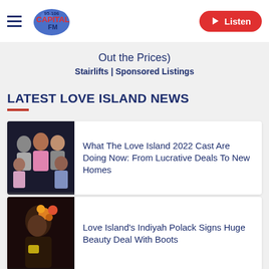95-106 Capital FM | Listen
Out the Prices)
Stairlifts | Sponsored Listings
LATEST LOVE ISLAND NEWS
[Figure (photo): Group photo of Love Island 2022 cast members posing together]
What The Love Island 2022 Cast Are Doing Now: From Lucrative Deals To New Homes
[Figure (photo): Photo of Indiyah Polack wearing colorful outfit]
Love Island's Indiyah Polack Signs Huge Beauty Deal With Boots